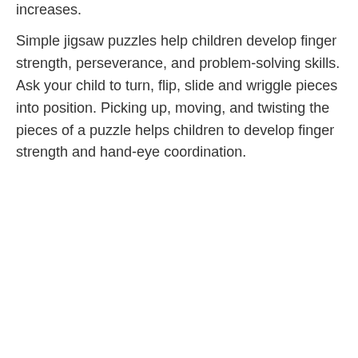increases.
Simple jigsaw puzzles help children develop finger strength, perseverance, and problem-solving skills. Ask your child to turn, flip, slide and wriggle pieces into position. Picking up, moving, and twisting the pieces of a puzzle helps children to develop finger strength and hand-eye coordination.